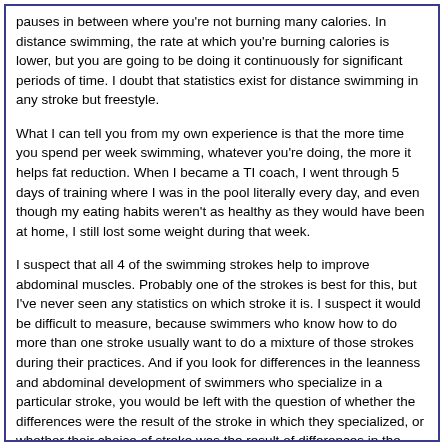pauses in between where you're not burning many calories. In distance swimming, the rate at which you're burning calories is lower, but you are going to be doing it continuously for significant periods of time. I doubt that statistics exist for distance swimming in any stroke but freestyle.
What I can tell you from my own experience is that the more time you spend per week swimming, whatever you're doing, the more it helps fat reduction. When I became a TI coach, I went through 5 days of training where I was in the pool literally every day, and even though my eating habits weren't as healthy as they would have been at home, I still lost some weight during that week.
I suspect that all 4 of the swimming strokes help to improve abdominal muscles. Probably one of the strokes is best for this, but I've never seen any statistics on which stroke it is. I suspect it would be difficult to measure, because swimmers who know how to do more than one stroke usually want to do a mixture of those strokes during their practices. And if you look for differences in the leanness and abdominal development of swimmers who specialize in a particular stroke, you would be left with the question of whether the differences were the result of the stroke in which they specialized, or whether their choice of stroke was the result of differences in the leanness and abdominal development they already had.